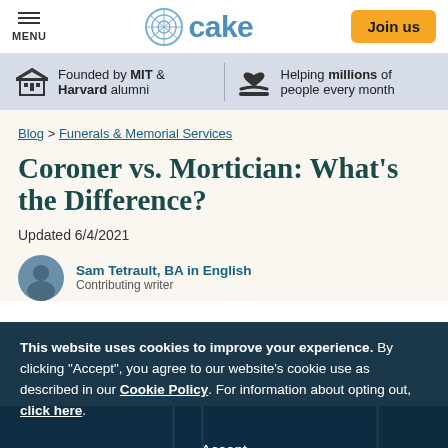MENU | cake | Join us
Founded by MIT & Harvard alumni | Helping millions of people every month
Blog > Funerals & Memorial Services
Coroner vs. Mortician: What's the Difference?
Updated 6/4/2021
Sam Tetrault, BA in English
Contributing writer
This website uses cookies to improve your experience. By clicking "Accept", you agree to our website's cookie use as described in our Cookie Policy. For information about opting out, click here.
Accept